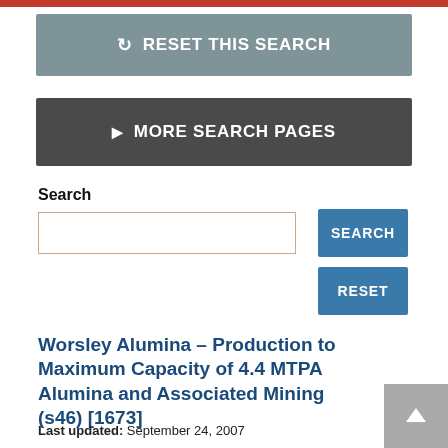[Figure (screenshot): Red top navigation bar strip]
↻ RESET THIS SEARCH
▶ MORE SEARCH PAGES
Search
SEARCH
RESET
Worsley Alumina – Production to Maximum Capacity of 4.4 MTPA Alumina and Associated Mining (s46) [1673]
Last updated: September 24, 2007